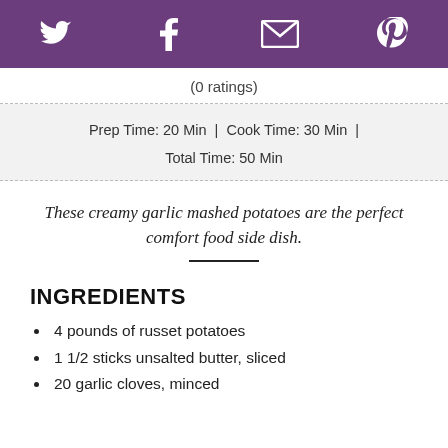Social share icons: Twitter, Facebook, Email, Pinterest
(0 ratings)
Prep Time: 20 Min  |  Cook Time: 30 Min  |  Total Time: 50 Min
These creamy garlic mashed potatoes are the perfect comfort food side dish.
INGREDIENTS
4 pounds of russet potatoes
1 1/2 sticks unsalted butter, sliced
20 garlic cloves, minced